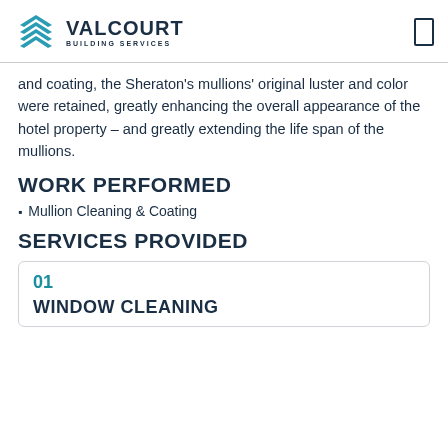VALCOURT BUILDING SERVICES
and coating, the Sheraton's mullions' original luster and color were retained, greatly enhancing the overall appearance of the hotel property – and greatly extending the life span of the mullions.
WORK PERFORMED
Mullion Cleaning & Coating
SERVICES PROVIDED
01
WINDOW CLEANING